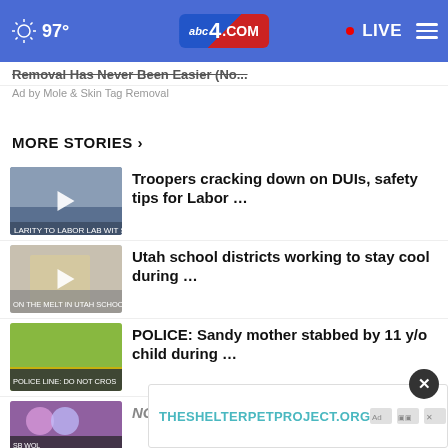97° abc4.com LIVE
Removal Has Never Been Easier (No...
Ad by Mole & Skin Tag Removal
MORE STORIES ›
Troopers cracking down on DUIs, safety tips for Labor …
Utah school districts working to stay cool during …
POLICE: Sandy mother stabbed by 11 y/o child during …
NOW: Sandy Police investigat…
One in critical condition following
THESHELTERPETPROJECT.ORG